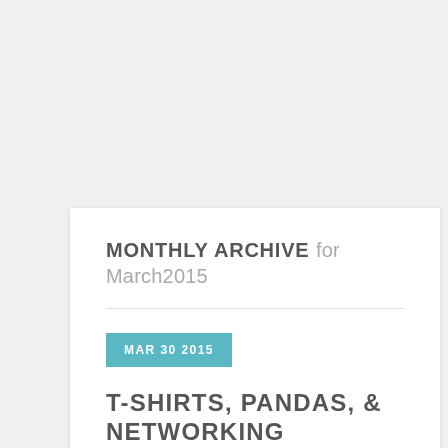MONTHLY ARCHIVE for March2015
MAR 30 2015
T-SHIRTS, PANDAS, & NETWORKING